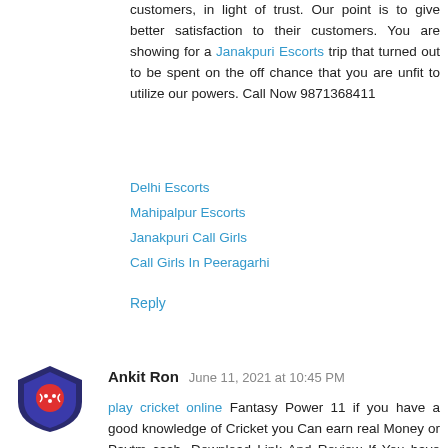customers, in light of trust. Our point is to give better satisfaction to their customers. You are showing for a Janakpuri Escorts trip that turned out to be spent on the off chance that you are unfit to utilize our powers. Call Now 9871368411
Delhi Escorts
Mahipalpur Escorts
Janakpuri Call Girls
Call Girls In Peeragarhi
Reply
Ankit Ron  June 11, 2021 at 10:45 PM
play cricket online Fantasy Power 11 if you have a good knowledge of Cricket you Can earn real Money or Paytm cash. Download Link And Review If You have Skills related to Cricket, Football, Kabaddi so you can Play Fantasy Cricket in Fantasy Power11 and win real Cash.
Reply